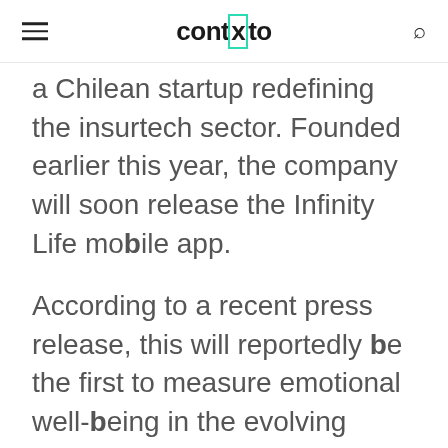contxto
a Chilean startup redefining the insurtech sector. Founded earlier this year, the company will soon release the Infinity Life mobile app.
According to a recent press release, this will reportedly be the first to measure emotional well-being in the evolving insurtech sector. That's to say, with this solution, users will be